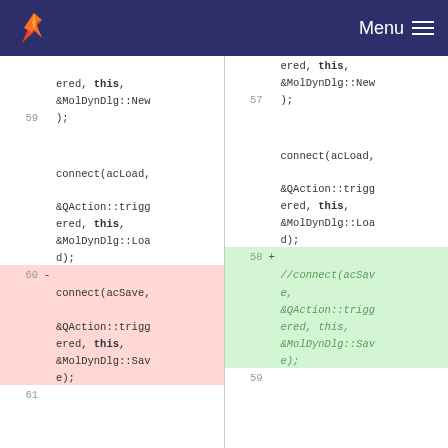Menu
[Figure (screenshot): Git diff view showing two code panels side by side. Left panel shows old code (lines 59-61), right panel shows new code (lines 57-59). Lines show connect() calls for acLoad and acSave actions. Line 60 (deleted) shows connect(acSave, &QAction::triggered, this, &MolDynDlg::Save); Line 58 (added) shows //connect(acSave, &QAction::triggered, this, &MolDynDlg::Save); as a commented-out version in italic green.]